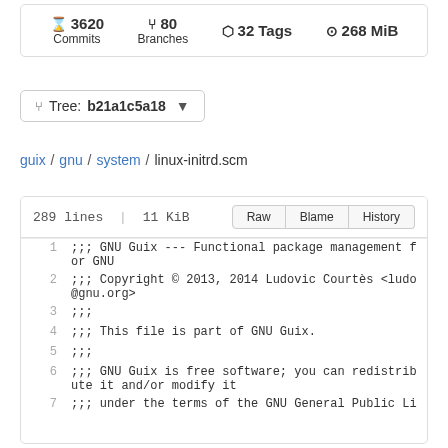3620 Commits  80 Branches  32 Tags  268 MiB
Tree: b21a1c5a18
guix / gnu / system / linux-initrd.scm
| line | code |
| --- | --- |
| 1 | ;;; GNU Guix --- Functional package management for GNU |
| 2 | ;;; Copyright © 2013, 2014 Ludovic Courtès <ludo@gnu.org> |
| 3 | ;;; |
| 4 | ;;; This file is part of GNU Guix. |
| 5 | ;;; |
| 6 | ;;; GNU Guix is free software; you can redistribute it and/or modify it |
| 7 | ;;; under the terms of the GNU General Public Li |